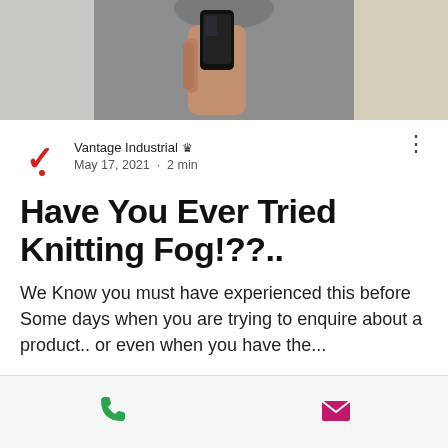[Figure (photo): Photo of a person wearing a grey long-sleeve top, holding a smartphone, cropped to show torso and hand]
Vantage Industrial 👑  May 17, 2021 · 2 min
Have You Ever Tried Knitting Fog!??..
We Know you must have experienced this before Some days when you are trying to enquire about a product.. or even when you have the...
[Figure (infographic): Bottom action bar with green phone icon on the left and pink/magenta envelope icon on the right]